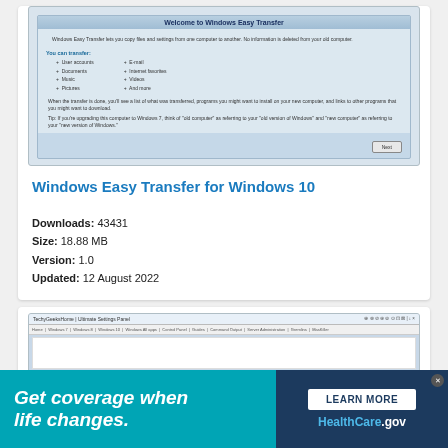[Figure (screenshot): Windows Easy Transfer welcome screen screenshot showing options to transfer user accounts, documents, music, pictures, e-mail, internet favorites, videos, and more. Includes a Next button at bottom right.]
Windows Easy Transfer for Windows 10
Downloads: 43431
Size: 18.88 MB
Version: 1.0
Updated: 12 August 2022
[Figure (screenshot): TechyGeeksHome | Ultimate Settings Panel website screenshot showing navigation bar with links to Home, Windows 7, Windows 8, Windows 10, Windows All apps, Control Panel, Guides, Command Output, Server Administration, Gremlins, MasKiller.]
[Figure (advertisement): HealthCare.gov advertisement banner with teal background on left reading 'Get coverage when life changes.' in white italic bold text, and dark blue right side with white 'LEARN MORE' button and HealthCare.gov logo.]